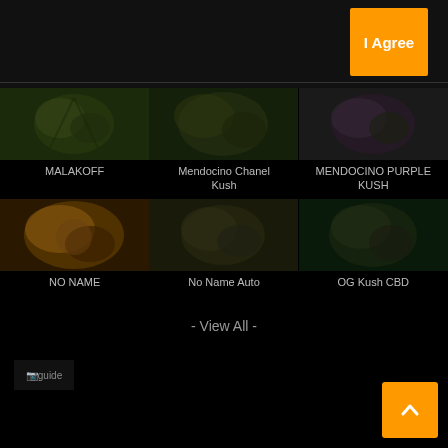I Agree
[Figure (photo): MALAKOFF cannabis plant photo]
MALAKOFF
[Figure (photo): Mendocino Chanel Kush cannabis plant photo]
Mendocino Chanel Kush
[Figure (photo): MENDOCINO PURPLE KUSH cannabis plant photo]
MENDOCINO PURPLE KUSH
[Figure (photo): NO NAME cannabis plant photo]
NO NAME
[Figure (photo): No Name Auto cannabis plant photo]
No Name Auto
[Figure (photo): OG Kush CBD cannabis plant photo]
OG Kush CBD
- View All -
guide